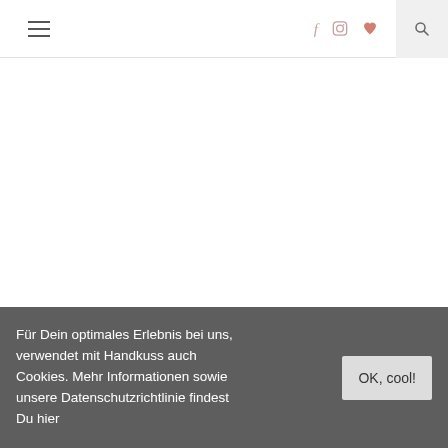≡  f  🔲  ♥  🔍
With Christmas around the corner, office dinners, family reunions, cocktail parties and so many different things going on, one of the most important things is
Für Dein optimales Erlebnis bei uns, verwendet mit Handkuss auch Cookies. Mehr Informationen sowie unsere Datenschutzrichtlinie findest Du hier
OK, cool!